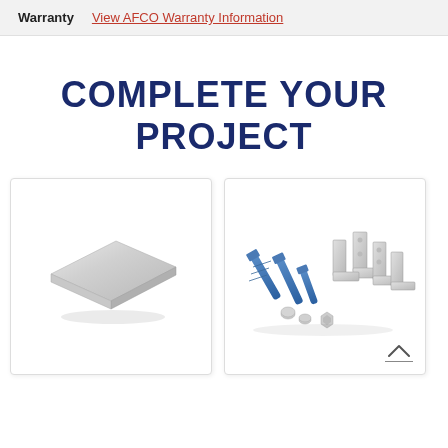| Warranty | Link |
| --- | --- |
| Warranty | View AFCO Warranty Information |
COMPLETE YOUR PROJECT
[Figure (photo): A flat square metal plate with a polished silver/gray finish, shown at an angle on a white background.]
[Figure (photo): A collection of hardware including blue lag screws, metal angle brackets, bolts, and nuts arranged on a white background.]